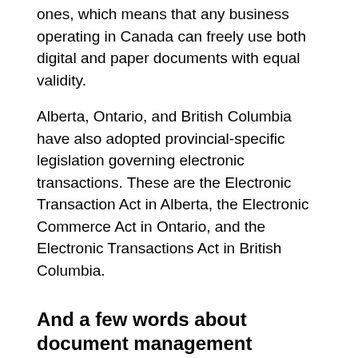ones, which means that any business operating in Canada can freely use both digital and paper documents with equal validity.
Alberta, Ontario, and British Columbia have also adopted provincial-specific legislation governing electronic transactions. These are the Electronic Transaction Act in Alberta, the Electronic Commerce Act in Ontario, and the Electronic Transactions Act in British Columbia.
And a few words about document management
When talking about electronic and digital signatures another issue that comes around is finding a reliable document management solution that will replace time-consuming document processing routines while